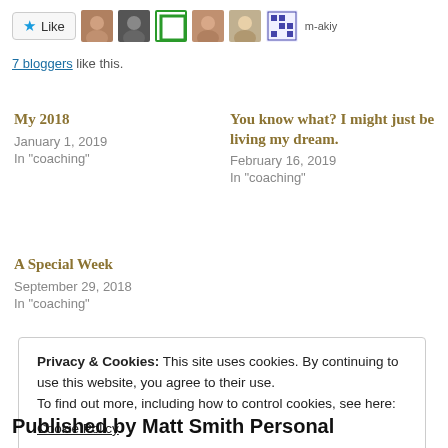[Figure (other): Like button with star icon and 6 blogger avatar thumbnails and m-akiy text label]
7 bloggers like this.
My 2018
January 1, 2019
In "coaching"
You know what? I might just be living my dream.
February 16, 2019
In "coaching"
A Special Week
September 29, 2018
In "coaching"
Privacy & Cookies: This site uses cookies. By continuing to use this website, you agree to their use.
To find out more, including how to control cookies, see here:
Cookie Policy
Close and accept
Published by Matt Smith Personal